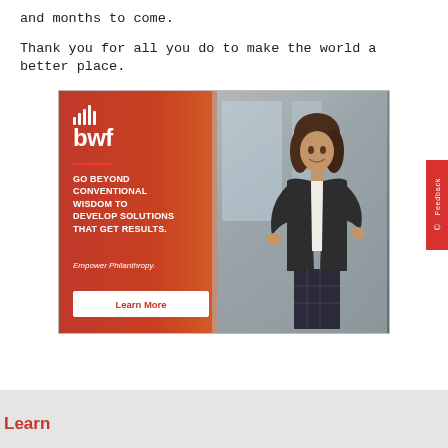and months to come.
Thank you for all you do to make the world a better place.
[Figure (illustration): BWF advertisement banner with red-to-orange gradient on the left side showing BWF logo (bar chart icon above 'bwf' text), headline 'GO BEYOND CONVENTIONAL WISDOM TO DEVELOP SOLUTIONS THAT GET RESULTS.', subtext 'Empower Philanthropy.', a white 'Learn More' button, and a photo of a professional woman presenting on the right side.]
Learn